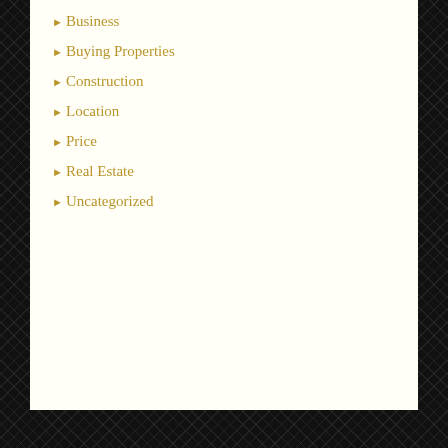Business
Buying Properties
Construction
Location
Price
Real Estate
Uncategorized
Meta
Log in
Entries feed
Comments feed
WordPress.org
Blog Search